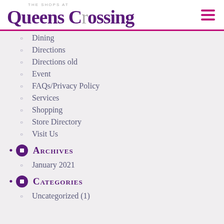The Shops at Queens Crossing
Dining
Directions
Directions old
Event
FAQs/Privacy Policy
Services
Shopping
Store Directory
Visit Us
Archives
January 2021
Categories
Uncategorized (1)